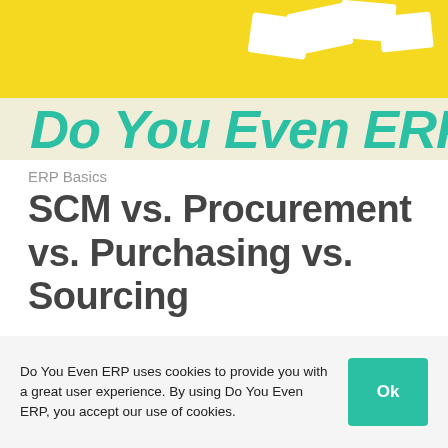[Figure (photo): Yellow background with white cards/envelopes and large teal italic text reading 'Do You Even ERP' — website banner logo]
ERP Basics
SCM vs. Procurement vs. Purchasing vs. Sourcing
[Figure (photo): Close-up photo of colorful candy-coated chocolate beads scattered on a white surface, with grey/silver beads arranged in a circle on the right side]
Do You Even ERP uses cookies to provide you with a great user experience. By using Do You Even ERP, you accept our use of cookies.